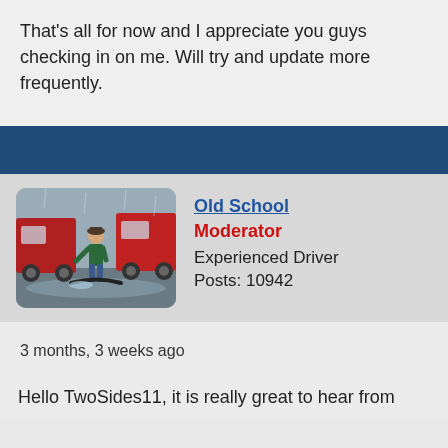That's all for now and I appreciate you guys checking in on me. Will try and update more frequently.
[Figure (photo): A man working outdoors near large red trucks in rainy/wet conditions, appearing to drag a hose or cable across wet pavement]
Old School
Moderator
Experienced Driver
Posts: 10942
3 months, 3 weeks ago
Hello TwoSides11, it is really great to hear from